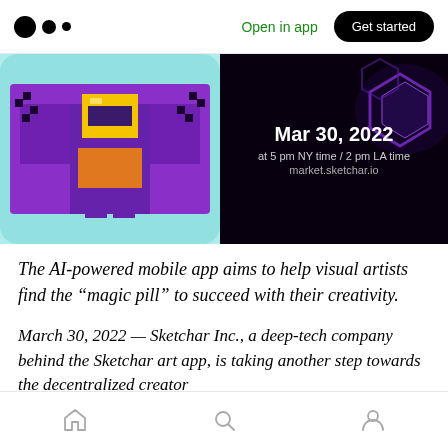Medium logo | Open in app | Get started
[Figure (screenshot): Two app screenshots side by side: left shows a pixel-art superhero character on a teal background; right shows a dark background with purple hexagon shapes and event details: Mar 30, 2022 at 5 pm NY time / 2 pm LA time, market.sketchar.io]
The AI-powered mobile app aims to help visual artists find the “magic pill” to succeed with their creativity.
March 30, 2022 — Sketchar Inc., a deep-tech company behind the Sketchar art app, is taking another step towards the decentralized creator
Home | Search | Profile